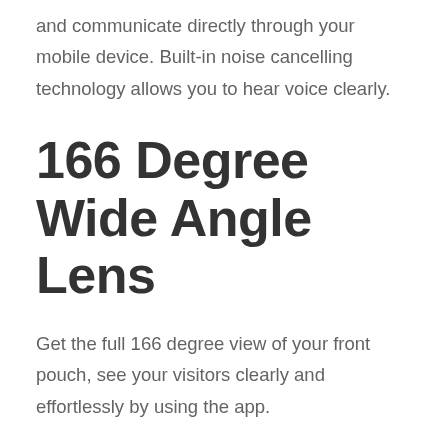and communicate directly through your mobile device. Built-in noise cancelling technology allows you to hear voice clearly.
166 Degree Wide Angle Lens
Get the full 166 degree view of your front pouch, see your visitors clearly and effortlessly by using the app.
Smart Night Vision